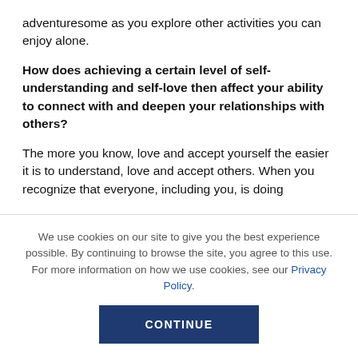adventuresome as you explore other activities you can enjoy alone.
How does achieving a certain level of self-understanding and self-love then affect your ability to connect with and deepen your relationships with others?
The more you know, love and accept yourself the easier it is to understand, love and accept others. When you recognize that everyone, including you, is doing
We use cookies on our site to give you the best experience possible. By continuing to browse the site, you agree to this use. For more information on how we use cookies, see our Privacy Policy.
CONTINUE